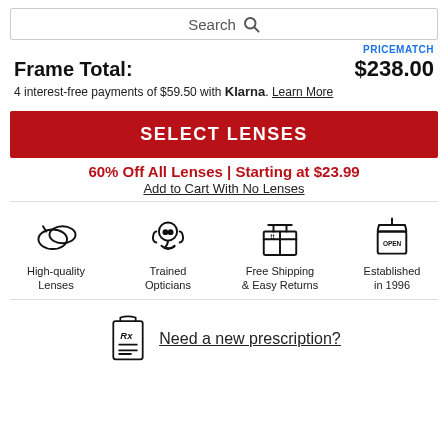Search
PRICEMATCH
Frame Total: $238.00
4 interest-free payments of $59.50 with Klarna. Learn More
SELECT LENSES
60% Off All Lenses | Starting at $23.99
Add to Cart With No Lenses
[Figure (illustration): Four icons: High-quality Lenses (lens icon), Trained Opticians (headset icon), Free Shipping & Easy Returns (box icon), Established in 1996 (open sign icon)]
Need a new prescription?